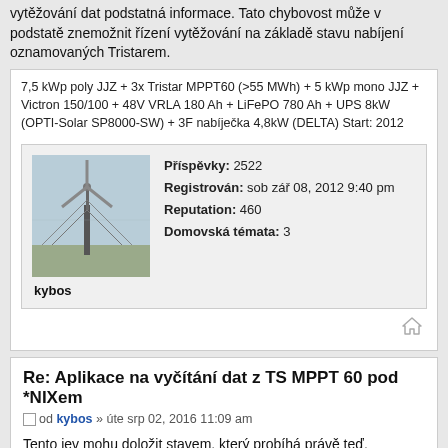vytěžování dat podstatná informace. Tato chybovost může v podstatě znemožnit řízení vytěžování na základě stavu nabíjení oznamovaných Tristarem.
7,5 kWp poly JJZ + 3x Tristar MPPT60 (>55 MWh) + 5 kWp mono JJZ + Victron 150/100 + 48V VRLA 180 Ah + LiFePO 780 Ah + UPS 8kW (OPTI-Solar SP8000-SW) + 3F nabíječka 4,8kW (DELTA) Start: 2012
Příspěvky: 2522
Registrován: sob zář 08, 2012 9:40 pm
Reputation: 460
Domovská témata: 3
kybos
Re: Aplikace na vyčítání dat z TS MPPT 60 pod *NIXem
od kybos » úte srp 02, 2016 11:09 am
Tento jev mohu doložit stavem, který probíhá právě teď. Absorpční napětí tristaru je nastaveno na 54,4 V (Target Voltage). Tristar běží na plný výkon (Array voltage = Sweep Vmp) a na dosažení absorpčního napětí zbývá ještě 360mV. Přesto již ohlašuje stav absorpce ale ve skutečnosti je ještě ve stavu bulk a nějakou tu hodinku mu ještě potrvá, než baterie nabije do hodnoty